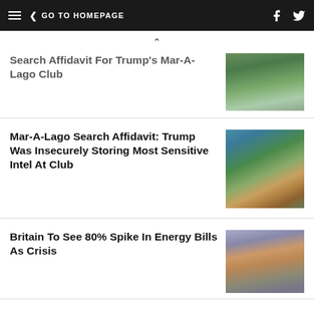GO TO HOMEPAGE
Search Affidavit For Trump's Mar-A-Lago Club
[Figure (photo): Aerial or water view photo related to Mar-A-Lago]
Mar-A-Lago Search Affidavit: Trump Was Insecurely Storing Most Sensitive Intel At Club
[Figure (photo): Aerial view of Mar-A-Lago estate]
Britain To See 80% Spike In Energy Bills As Crisis